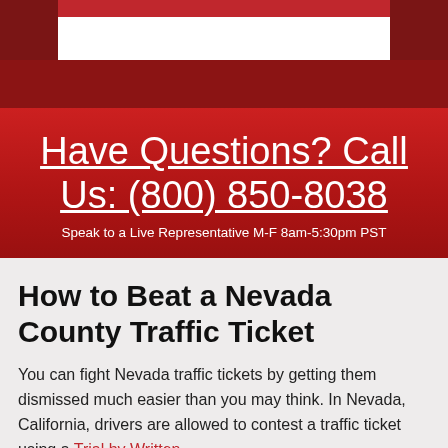[Figure (photo): Dark red leather/textured background with a white box overlay containing a red bar at top, appearing to be a website header image]
Have Questions? Call Us: (800) 850-8038
Speak to a Live Representative M-F 8am-5:30pm PST
How to Beat a Nevada County Traffic Ticket
You can fight Nevada traffic tickets by getting them dismissed much easier than you may think. In Nevada, California, drivers are allowed to contest a traffic ticket using a Trial by Written